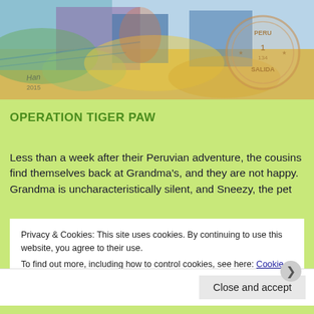[Figure (illustration): Colorful illustrated artwork showing figures in motion with a Peru/Salida stamp watermark in the upper right corner. Artist signature and 2015 date visible in lower left.]
OPERATION TIGER PAW
Less than a week after their Peruvian adventure, the cousins find themselves back at Grandma's, and they are not happy. Grandma is uncharacteristically silent, and Sneezy, the pet
Privacy & Cookies: This site uses cookies. By continuing to use this website, you agree to their use.
To find out more, including how to control cookies, see here: Cookie Policy
Close and accept